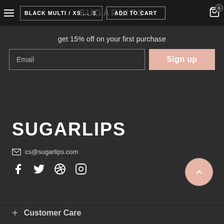BLACK MULTI / XS ...  ADD TO CART
get 15% off on your first purchase
Email  Sign up
SUGARLIPS
cs@sugarlips.com
Social icons: Facebook, Twitter, Pinterest, Instagram
+ Customer Care